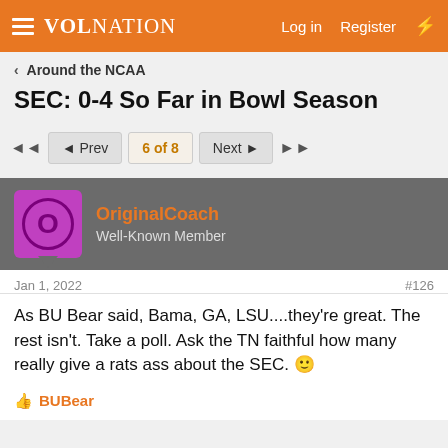VolNation — Log in  Register
‹  Around the NCAA
SEC: 0-4 So Far in Bowl Season
◄◄  ◄ Prev  6 of 8  Next ►  ►►
OriginalCoach
Well-Known Member
Jan 1, 2022  #126
As BU Bear said, Bama, GA, LSU....they're great. The rest isn't. Take a poll. Ask the TN faithful how many really give a rats ass about the SEC. 🙂
👍 BUBear